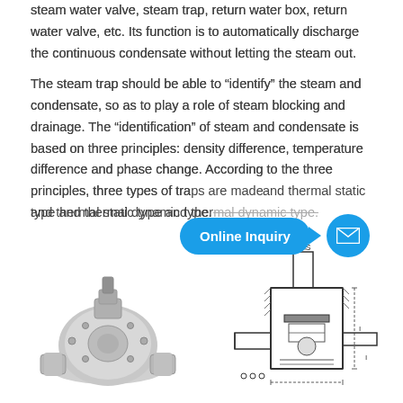steam water valve, steam trap, return water box, return water valve, etc. Its function is to automatically discharge the continuous condensate without letting the steam out.
The steam trap should be able to “identify” the steam and condensate, so as to play a role of steam blocking and drainage. The “identification” of steam and condensate is based on three principles: density difference, temperature difference and phase change. According to the three principles, three types of traps are made: mechanical type, thermal static type and thermal dynamic type.
[Figure (photo): Photo of a stainless steel steam trap valve with flanged connections]
[Figure (engineering-diagram): Cross-sectional engineering diagram of a steam trap showing internal components, dimensions labeled with S and other references]